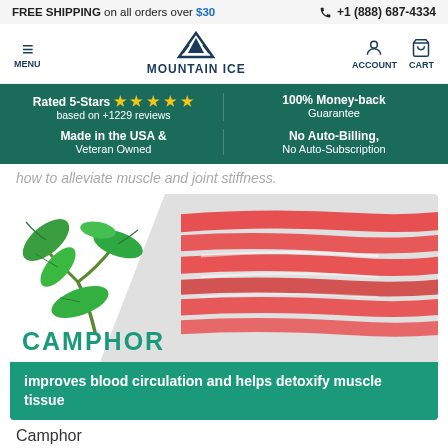FREE SHIPPING on all orders over $30   +1 (888) 687-4334
[Figure (logo): Mountain Ice logo with mountain peak icon and text MOUNTAIN ICE, plus MENU, ACCOUNT, CART navigation icons]
Rated 5-Stars ★★★★★ based on +1229 reviews | 100% Money-back Guarantee | Made in the USA & Veteran Owned | No Auto-Billing, No Auto-Subscription
how to alleviate muscle and joint stiffness.
[Figure (illustration): Camphor leaf illustration on the left, red muscle fiber illustration on the right with diagonal split. Label CAMPHOR in teal at bottom left. Teal banner below reading: improves blood circulation and helps detoxify muscle tissue]
Camphor
Reduces inflammation by blocking inflammation